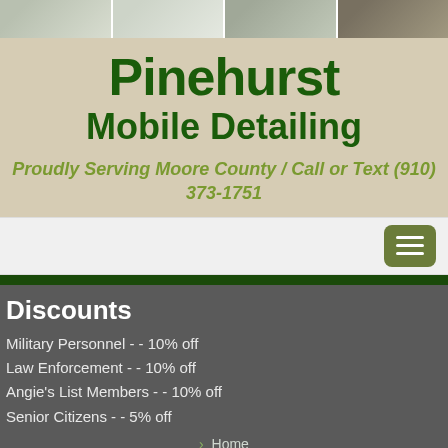[Figure (photo): Strip of four photos showing company vehicles and equipment for Pinehurst Mobile Detailing]
Pinehurst Mobile Detailing
Proudly Serving Moore County / Call or Text (910) 373-1751
[Figure (screenshot): Navigation bar with hamburger menu button]
Discounts
Military Personnel - - 10% off
Law Enforcement - - 10% off
Angie's List Members - - 10% off
Senior Citizens - - 5% off
Home
3 Step Paint Correction Process